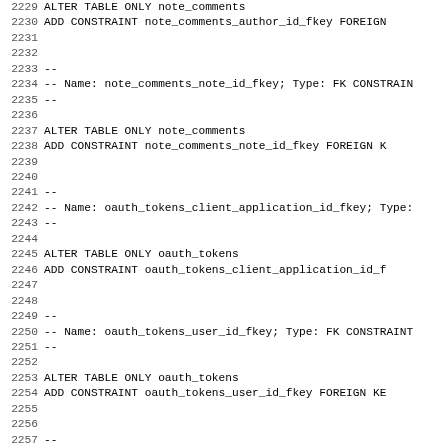SQL DDL code block showing ALTER TABLE and FK CONSTRAINT statements for note_comments and oauth_tokens tables, lines 2229-2261
2229 ALTER TABLE ONLY note_comments
2230     ADD CONSTRAINT note_comments_author_id_fkey FOREIGN
2231
2232
2233 --
2234 -- Name: note_comments_note_id_fkey; Type: FK CONSTRAIN
2235 --
2236
2237 ALTER TABLE ONLY note_comments
2238     ADD CONSTRAINT note_comments_note_id_fkey FOREIGN K
2239
2240
2241 --
2242 -- Name: oauth_tokens_client_application_id_fkey; Type:
2243 --
2244
2245 ALTER TABLE ONLY oauth_tokens
2246     ADD CONSTRAINT oauth_tokens_client_application_id_f
2247
2248
2249 --
2250 -- Name: oauth_tokens_user_id_fkey; Type: FK CONSTRAINT
2251 --
2252
2253 ALTER TABLE ONLY oauth_tokens
2254     ADD CONSTRAINT oauth_tokens_user_id_fkey FOREIGN KE
2255
2256
2257 --
2258 -- Name: redactions_user_id_fkey; Type: FK CONSTRAINT;
2259 --
2260
2261 ALTER TABLE ONLY redactions